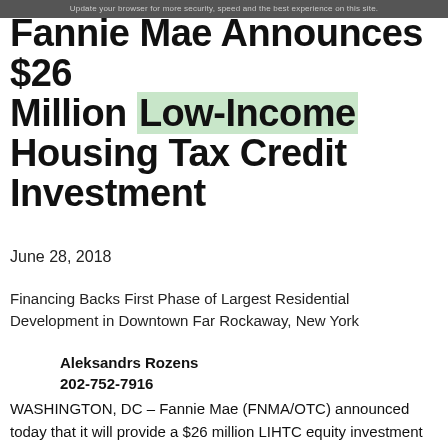Update your browser for more security, speed and the best experience on this site.
Fannie Mae Announces $26 Million Low-Income Housing Tax Credit Investment
June 28, 2018
Financing Backs First Phase of Largest Residential Development in Downtown Far Rockaway, New York
Aleksandrs Rozens
202-752-7916
WASHINGTON, DC – Fannie Mae (FNMA/OTC) announced today that it will provide a $26 million LIHTC equity investment to facilitate the construction of Far Rockaway Village, a 457 unit residential development in the downtown